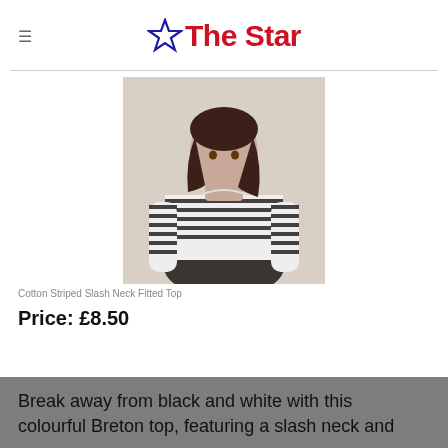The Star
[Figure (photo): Woman wearing a white and black horizontal striped Cotton Striped Slash Neck Fitted Top, seated against a neutral background, wearing dark trousers.]
Cotton Striped Slash Neck Fitted Top
Price: £8.50
Break away from black and white with this colourful Breton top, featuring a slash neck and